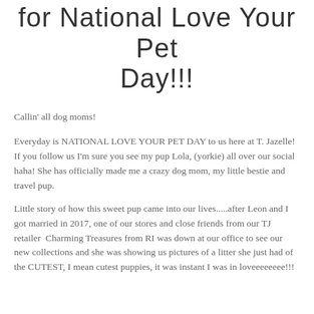for National Love Your Pet Day!!!
Callin' all dog moms!
Everyday is NATIONAL LOVE YOUR PET DAY to us here at T. Jazelle! If you follow us I'm sure you see my pup Lola, (yorkie) all over our social haha! She has officially made me a crazy dog mom, my little bestie and travel pup.
Little story of how this sweet pup came into our lives.....after Leon and I got married in 2017, one of our stores and close friends from our TJ retailer  Charming Treasures from RI was down at our office to see our new collections and she was showing us pictures of a litter she just had of the CUTEST, I mean cutest puppies, it was instant I was in loveeeeeeee!!!